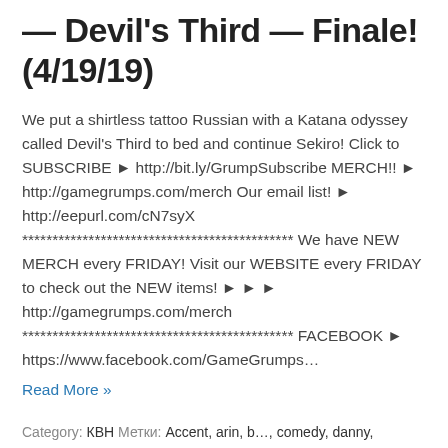— Devil's Third — Finale! (4/19/19)
We put a shirtless tattoo Russian with a Katana odyssey called Devil's Third to bed and continue Sekiro! Click to SUBSCRIBE ► http://bit.ly/GrumpSubscribe MERCH!! ► http://gamegrumps.com/merch Our email list! ► http://eepurl.com/cN7syX ********************************************* We have NEW MERCH every FRIDAY! Visit our WEBSITE every FRIDAY to check out the NEW items! ► ► ► http://gamegrumps.com/merch ********************************************* FACEBOOK ► https://www.facebook.com/GameGrumps…
Read More »
Category: КВН Метки: Accent, arin, b…, comedy, danny, devil's third, egoraptor, Funny, game grumps, gamegrumps, …